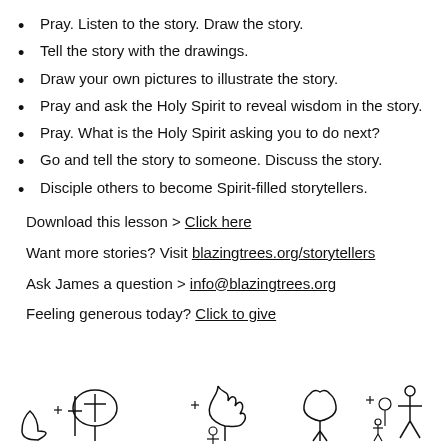Pray. Listen to the story. Draw the story.
Tell the story with the drawings.
Draw your own pictures to illustrate the story.
Pray and ask the Holy Spirit to reveal wisdom in the story.
Pray. What is the Holy Spirit asking you to do next?
Go and tell the story to someone. Discuss the story.
Disciple others to become Spirit-filled storytellers.
Download this lesson > Click here
Want more stories? Visit blazingtrees.org/storytellers
Ask James a question > info@blazingtrees.org
Feeling generous today? Click to give
[Figure (illustration): Four small hand-drawn stick figure and tree icons at the bottom of the page representing storytelling concepts]